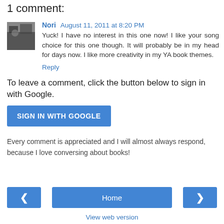1 comment:
Nori August 11, 2011 at 8:20 PM
Yuck! I have no interest in this one now! I like your song choice for this one though. It will probably be in my head for days now. I like more creativity in my YA book themes.
Reply
To leave a comment, click the button below to sign in with Google.
SIGN IN WITH GOOGLE
Every comment is appreciated and I will almost always respond, because I love conversing about books!
Home
View web version